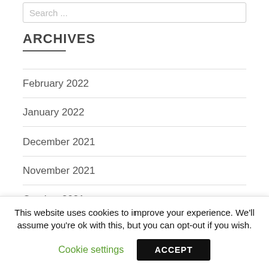Search ...
ARCHIVES
February 2022
January 2022
December 2021
November 2021
October 2021
This website uses cookies to improve your experience. We'll assume you're ok with this, but you can opt-out if you wish.
Cookie settings
ACCEPT